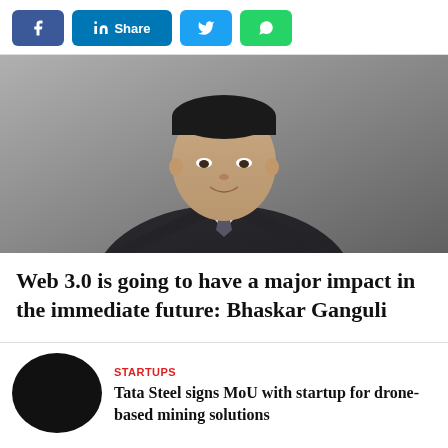[Figure (other): Social media share buttons: Facebook, LinkedIn Share, Twitter, WhatsApp]
[Figure (photo): Professional headshot of a man in a dark suit and tie, smiling, against a grey background — Bhaskar Ganguli]
Web 3.0 is going to have a major impact in the immediate future: Bhaskar Ganguli
[Figure (photo): Circular thumbnail image, mostly dark/black, for related article]
STARTUPS
Tata Steel signs MoU with startup for drone-based mining solutions